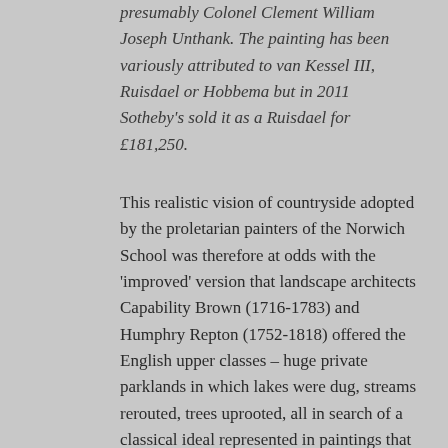presumably Colonel Clement William Joseph Unthank. The painting has been variously attributed to van Kessel III, Ruisdael or Hobbema but in 2011 Sotheby's sold it as a Ruisdael for £181,250.
This realistic vision of countryside adopted by the proletarian painters of the Norwich School was therefore at odds with the 'improved' version that landscape architects Capability Brown (1716-1783) and Humphry Repton (1752-1818) offered the English upper classes – huge private parklands in which lakes were dug, streams rerouted, trees uprooted, all in search of a classical ideal represented in paintings that their clients admired and probably collected on the Grand Tour.
Before he worked for the coach painter, 12-year-old Crome was employed by a physician, Dr Rigby, presumably his dispensing medicine [5]. Dr Rigby...